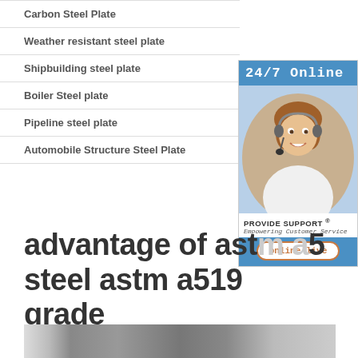Carbon Steel Plate
Weather resistant steel plate
Shipbuilding steel plate
Boiler Steel plate
Pipeline steel plate
Automobile Structure Steel Plate
[Figure (photo): Customer service representative wearing a headset, with 24/7 Online support branding and Provide Support logo, online live chat button]
advantage of astm a519 steel astm a519 grade 1020 supplier
[Figure (photo): Bottom partial photo of steel plates or industrial materials]